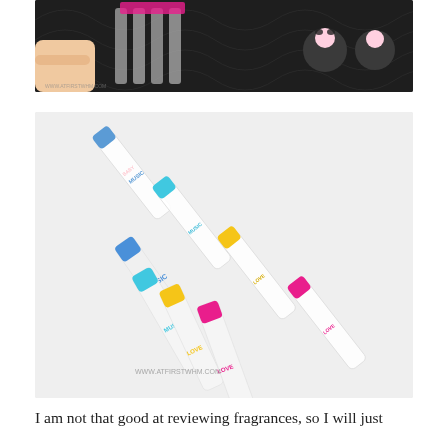[Figure (photo): Top portion of a hand holding a black product card/blister pack containing small fragrance vials with colored caps. Black background with cartoon character illustrations visible.]
[Figure (photo): Four small glass perfume spray vials laid out diagonally on a light gray/white surface. The vials have different colored caps: blue, teal/cyan, yellow, and pink/hot pink. Labels on the vials read BABY/MUSIC, and LOVE. Watermark reads WWW.ATFIRSTWHM.COM]
I am not that good at reviewing fragrances, so I will just